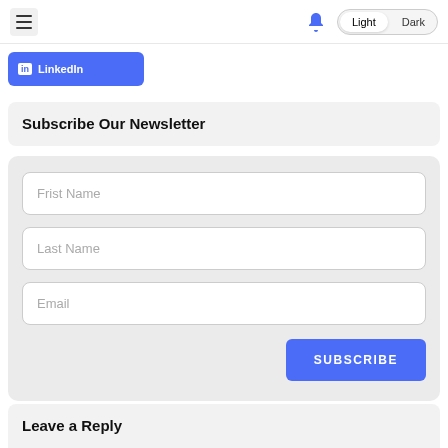Navigation bar with hamburger menu, bell icon, Light/Dark theme toggle
[Figure (screenshot): LinkedIn button (partially cropped) with blue background]
Subscribe Our Newsletter
Frist Name
Last Name
Email
SUBSCRIBE
Leave a Reply